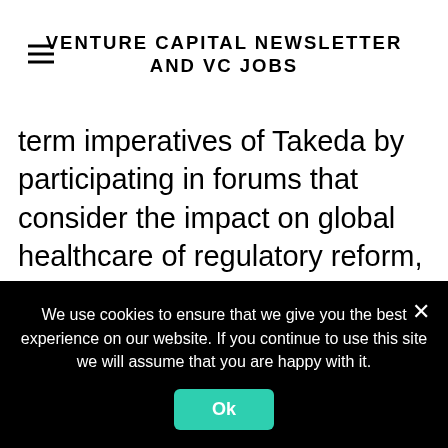VENTURE CAPITAL NEWSLETTER AND VC JOBS
term imperatives of Takeda by participating in forums that consider the impact on global healthcare of regulatory reform, disruptive science and technologies and potentially convergent industry activities
When required, provide expert support to assist other TPC external search and
We use cookies to ensure that we give you the best experience on our website. If you continue to use this site we will assume that you are happy with it.